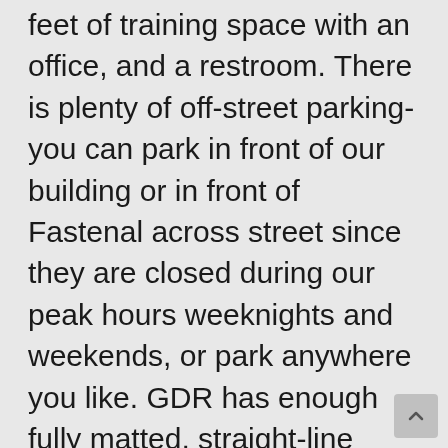feet of training space with an office, and a restroom. There is plenty of off-street parking- you can park in front of our building or in front of Fastenal across street since they are closed during our peak hours weeknights and weekends, or park anywhere you like. GDR has enough fully matted, straight-line space for fly-ball and several teams practice here.  It is also available for rental for agility, freestyle, rally-o and other dog activities. Several grassy areas, including in the rear of